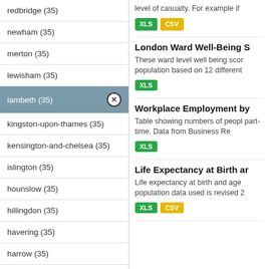redbridge (35)
newham (35)
merton (35)
lewisham (35)
lambeth (35)
kingston-upon-thames (35)
kensington-and-chelsea (35)
islington (35)
hounslow (35)
hillingdon (35)
havering (35)
harrow (35)
haringey (35)
level of casualty. For example if
London Ward Well-Being S
These ward level well being scor population based on 12 different
Workplace Employment by
Table showing numbers of peopl part-time. Data from Business Re
Life Expectancy at Birth ar
Life expectancy at birth and age population data used is revised 2